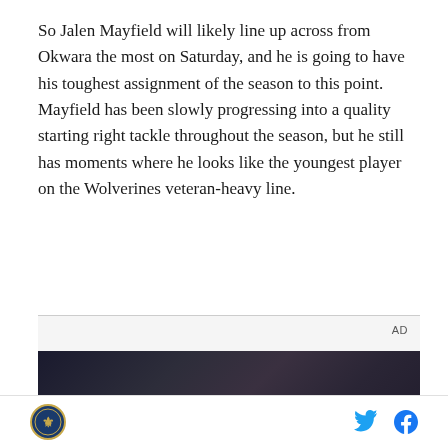So Jalen Mayfield will likely line up across from Okwara the most on Saturday, and he is going to have his toughest assignment of the season to this point. Mayfield has been slowly progressing into a quality starting right tackle throughout the season, but he still has moments where he looks like the youngest player on the Wolverines veteran-heavy line.
[Figure (other): Advertisement banner showing a dark scene with a person holding a phone, with text 'unfold world' overlaid. AD label in top right corner.]
Site logo | Twitter | Facebook